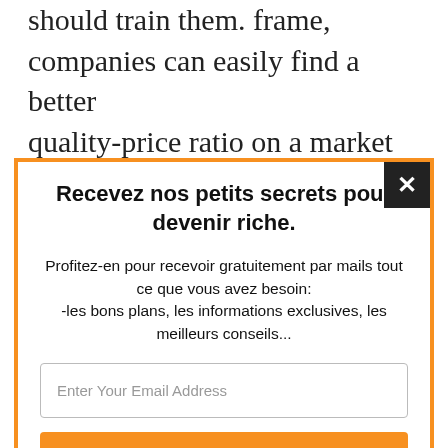should train them. frame, companies can easily find a better quality-price ratio on a market where the demand for labour exceeds the supply. Among 700 000 young people who complete their
Recevez nos petits secrets pour devenir riche.
Profitez-en pour recevoir gratuitement par mails tout ce que vous avez besoin:
-les bons plans, les informations exclusives, les meilleurs conseils...
Enter Your Email Address
J'en profite